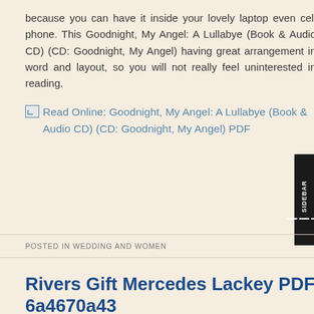because you can have it inside your lovely laptop even cell phone. This Goodnight, My Angel: A Lullabye (Book & Audio CD) (CD: Goodnight, My Angel) having great arrangement in word and layout, so you will not really feel uninterested in reading.
[Figure (other): Broken image placeholder followed by a link: 'Read Online: Goodnight, My Angel: A Lullabye (Book & Audio CD) (CD: Goodnight, My Angel) PDF']
POSTED IN WEDDING AND WOMEN
Rivers Gift Mercedes Lackey PDF 6a4670a43